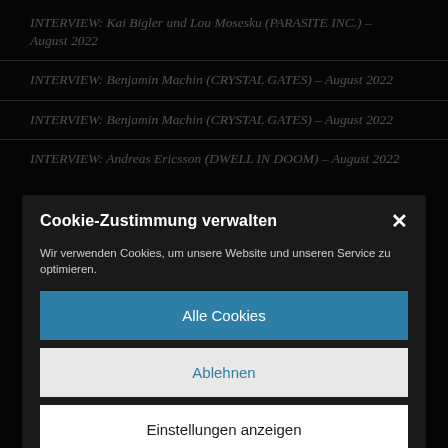INTERVIEW: Kai Bigler und Lou Mosesku (PARASITE INC.) – August 2022
INTERVIEW: Benjamin Machin (CRYSTAL GATES) – August 2022
INTERVIEW: Benjamin Machin (CRYSTAL GATES) – August 2022
INTERVIEW: Andreas Ericsson (DWELL IN DOOM) – August 2022
Cookie-Zustimmung verwalten
Wir verwenden Cookies, um unsere Website und unseren Service zu optimieren.
Alle Cookies
Ablehnen
Einstellungen anzeigen